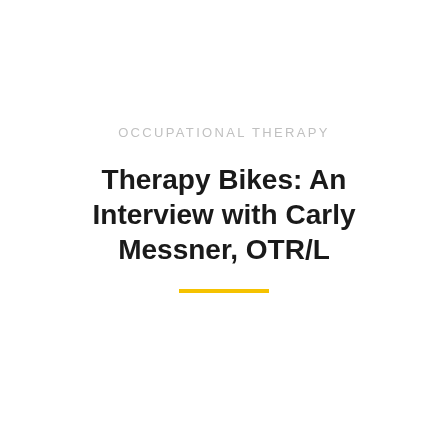OCCUPATIONAL THERAPY
Therapy Bikes: An Interview with Carly Messner, OTR/L